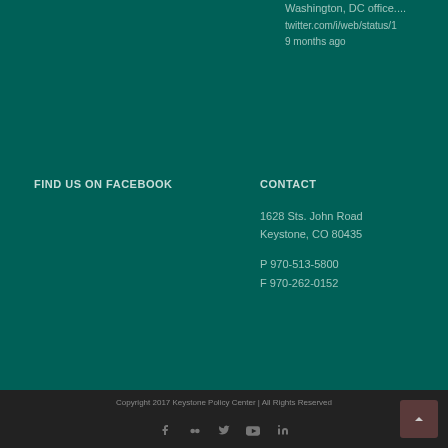Washington, DC office.... twitter.com/i/web/status/1 9 months ago
FIND US ON FACEBOOK
CONTACT
1628 Sts. John Road
Keystone, CO 80435
P 970-513-5800
F 970-262-0152
Copyright 2017 Keystone Policy Center | All Rights Reserved